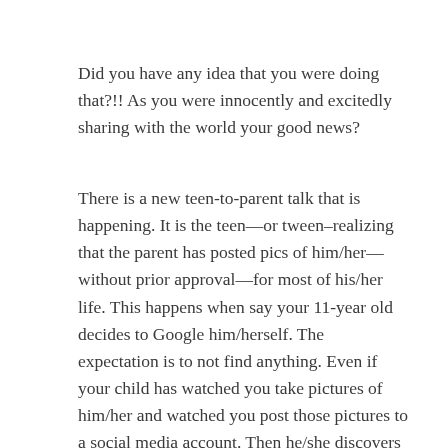Did you have any idea that you were doing that?!! As you were innocently and excitedly sharing with the world your good news?
There is a new teen-to-parent talk that is happening. It is the teen—or tween–realizing that the parent has posted pics of him/her—without prior approval—for most of his/her life. This happens when say your 11-year old decides to Google him/herself. The expectation is to not find anything. Even if your child has watched you take pictures of him/her and watched you post those pictures to a social media account. Then he/she discovers that there is so much out there. And